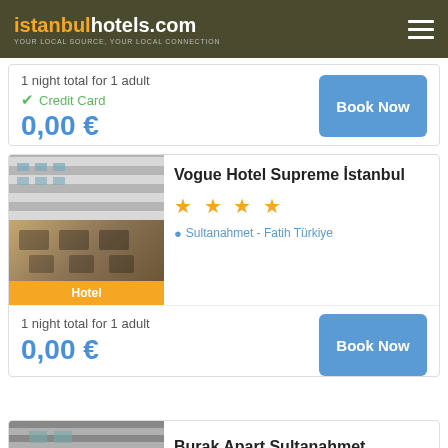istanbulhotels.com — YOUR LOCAL SOURCE, YOUR LOCAL CONNECTION
1 night total for 1 adult
Credit Card
0,00 €
Book Now
Vogue Hotel Supreme İstanbul
★ ★ ★ ★
Sultanahmet - Fatih Türkiye
Hotel
1 night total for 1 adult
0,00 €
Book Now
Burak Apart Sultanahmet